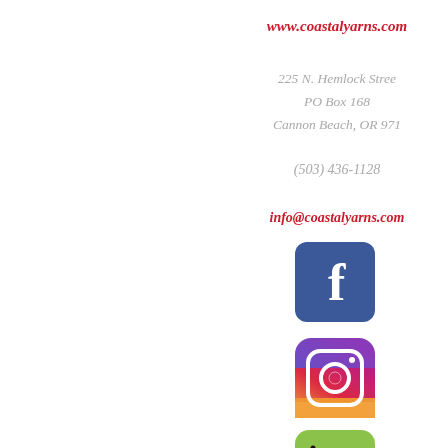www.coastalyarns.com
225 N. Hemlock Street
PO Box 168
Cannon Beach, OR 971
(503) 436-1128
info@coastalyarns.com
[Figure (logo): Facebook logo icon — blue rounded square with white lowercase f]
[Figure (logo): Instagram logo icon — gradient purple-pink-orange rounded square with white camera outline]
[Figure (logo): Ravelry logo icon — green rounded square with pink/dark yarn ball graphic]